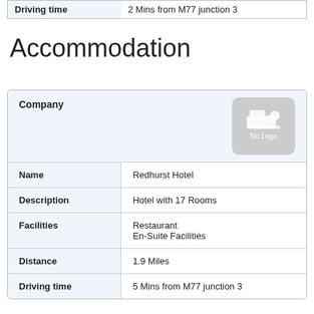| Driving time |  |
| --- | --- |
| Driving time | 2 Mins from M77 junction 3 |
Accommodation
| Company |  | Name | Description | Facilities | Distance | Driving time |
| --- | --- | --- | --- | --- | --- | --- |
| Company | No Logo |
| Name | Redhurst Hotel |
| Description | Hotel with 17 Rooms |
| Facilities | Restaurant
En-Suite Facilities |
| Distance | 1.9 Miles |
| Driving time | 5 Mins from M77 junction 3 |